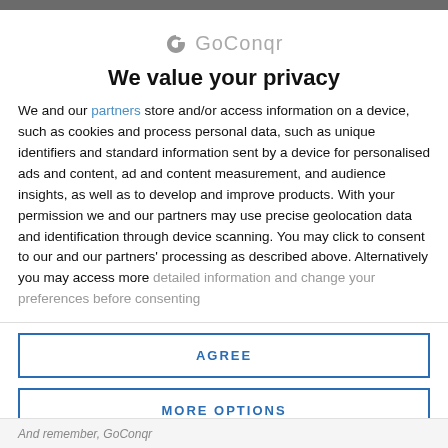[Figure (logo): GoConqr logo with stylized G icon and grey text]
We value your privacy
We and our partners store and/or access information on a device, such as cookies and process personal data, such as unique identifiers and standard information sent by a device for personalised ads and content, ad and content measurement, and audience insights, as well as to develop and improve products. With your permission we and our partners may use precise geolocation data and identification through device scanning. You may click to consent to our and our partners' processing as described above. Alternatively you may access more detailed information and change your preferences before consenting
AGREE
MORE OPTIONS
And remember, GoConqr